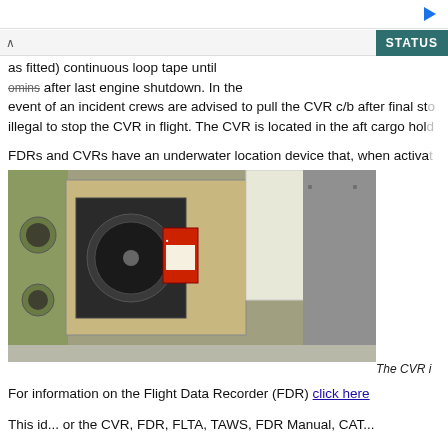as fitted) continuous loop tape until omins after last engine shutdown. In the event of an incident crews are advised to pull the CVR c/b after final st... illegal to stop the CVR in flight. The CVR is located in the aft cargo hol...
FDRs and CVRs have an underwater location device that, when activa... 37.5 kHz every second for a duration of at least 30 days.
[Figure (photo): Photo of a CVR (Cockpit Voice Recorder) installed in an aircraft. The device is shown in an open compartment, with a reel-to-reel tape mechanism visible. The recorder is mounted in the aft cargo hold area.]
The CVR i...
For information on the Flight Data Recorder (FDR) click here
This side-by-side CVR, FDR, FLTA, TAWS, FDR Manual, CAT...